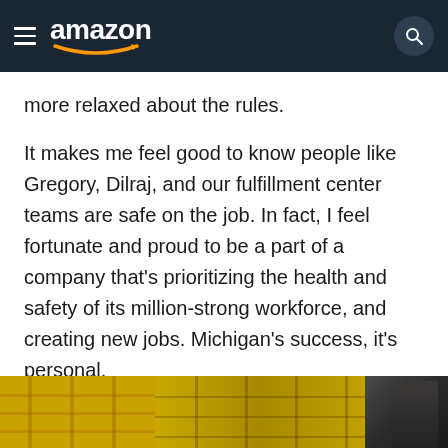amazon
more relaxed about the rules.
It makes me feel good to know people like Gregory, Dilraj, and our fulfillment center teams are safe on the job. In fact, I feel fortunate and proud to be a part of a company that's prioritizing the health and safety of its million-strong workforce, and creating new jobs. Michigan's success, it's personal.
[Figure (photo): Bottom strip showing a fulfillment center warehouse scene with yellow shelving/racks and a person visible on the right side.]